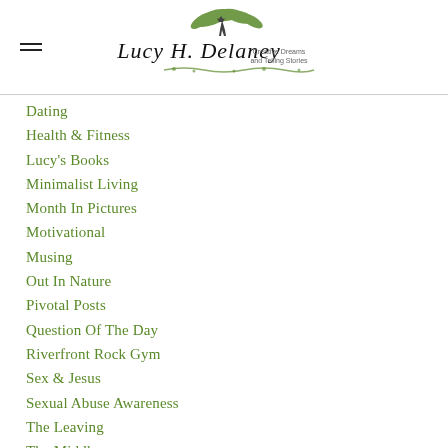Lucy H. Delaney — Creative Dreams and Telling Stories
Dating
Health & Fitness
Lucy's Books
Minimalist Living
Month In Pictures
Motivational
Musing
Out In Nature
Pivotal Posts
Question Of The Day
Riverfront Rock Gym
Sex & Jesus
Sexual Abuse Awareness
The Leaving
The Middle
Waiting On Justin
Wordpress Archives